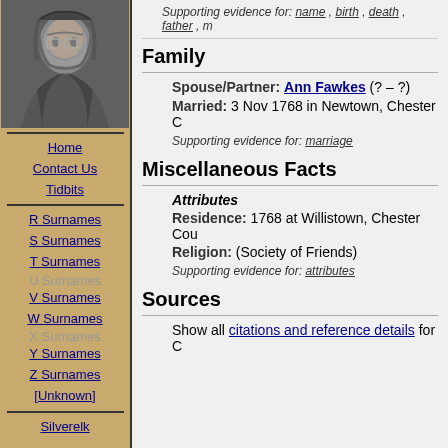[Figure (photo): Black and white photograph of a person with long dark hair and glasses, resting their chin on their hand]
Home
Contact Us
Tidbits
R Surnames
S Surnames
T Surnames
U Surnames
V Surnames
W Surnames
X Surnames
Y Surnames
Z Surnames
[Unknown]
Silverelk
Supporting evidence for: name , birth , death , father , m
Family
Spouse/Partner: Ann Fawkes (? – ?)
Married: 3 Nov 1768 in Newtown, Chester C
Supporting evidence for: marriage
Miscellaneous Facts
Attributes
Residence: 1768 at Willistown, Chester Cou
Religion: (Society of Friends)
Supporting evidence for: attributes
Sources
Show all citations and reference details for C